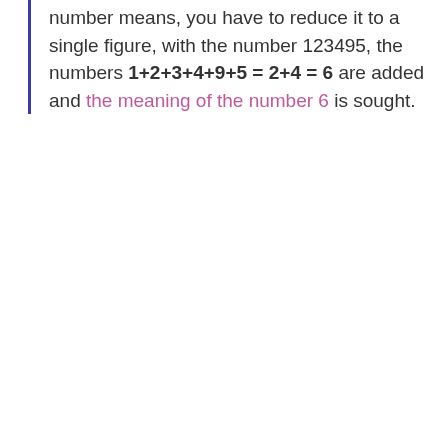number means, you have to reduce it to a single figure, with the number 123495, the numbers 1+2+3+4+9+5 = 2+4 = 6 are added and the meaning of the number 6 is sought.